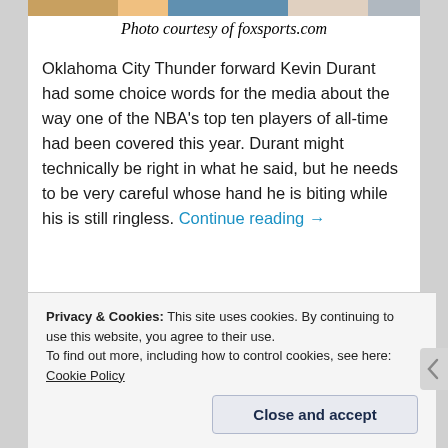[Figure (photo): Cropped photo strip at top of article, partially visible]
Photo courtesy of foxsports.com
Oklahoma City Thunder forward Kevin Durant had some choice words for the media about the way one of the NBA's top ten players of all-time had been covered this year. Durant might technically be right in what he said, but he needs to be very careful whose hand he is biting while his is still ringless. Continue reading →
Share this:
[Figure (infographic): Four social share buttons: email (gray circle), print (gray circle), Twitter (blue circle with bird icon), Facebook (blue circle with f icon)]
Loading
Privacy & Cookies: This site uses cookies. By continuing to use this website, you agree to their use.
To find out more, including how to control cookies, see here: Cookie Policy
Close and accept